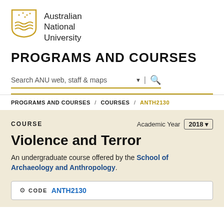[Figure (logo): Australian National University shield logo with stars and wave motifs in gold]
Australian National University
PROGRAMS AND COURSES
[Figure (other): Search bar with text 'Search ANU web, staff & maps' with dropdown arrow and magnifying glass icon, underlined in gold]
PROGRAMS AND COURSES / COURSES / ANTH2130
COURSE
Academic Year 2018
Violence and Terror
An undergraduate course offered by the School of Archaeology and Anthropology.
CODE ANTH2130